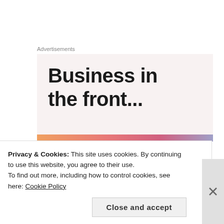Advertisements
[Figure (other): Advertisement banner with large bold text reading 'Business in the front...' on a light pink/beige background with a colorful gradient bar at the bottom]
Ron
July 29, 2013 at 5:12 pm
I wiil :
Privacy & Cookies: This site uses cookies. By continuing to use this website, you agree to their use.
To find out more, including how to control cookies, see here: Cookie Policy
Close and accept